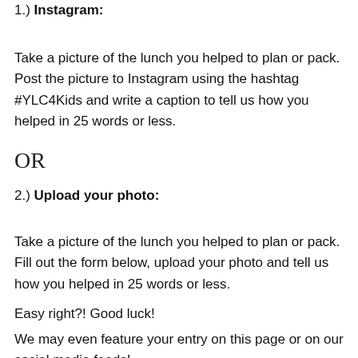1.) Instagram:
Take a picture of the lunch you helped to plan or pack. Post the picture to Instagram using the hashtag #YLC4Kids and write a caption to tell us how you helped in 25 words or less.
OR
2.) Upload your photo:
Take a picture of the lunch you helped to plan or pack. Fill out the form below, upload your photo and tell us how you helped in 25 words or less.
Easy right?! Good luck!
We may even feature your entry on this page or on our social media feeds!